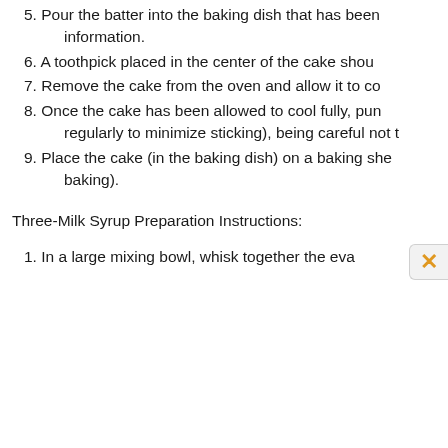5. Pour the batter into the baking dish that has been information.
6. A toothpick placed in the center of the cake shou
7. Remove the cake from the oven and allow it to co
8. Once the cake has been allowed to cool fully, pun regularly to minimize sticking), being careful not t
9. Place the cake (in the baking dish) on a baking she baking).
Three-Milk Syrup Preparation Instructions:
1. In a large mixing bowl, whisk together the eva